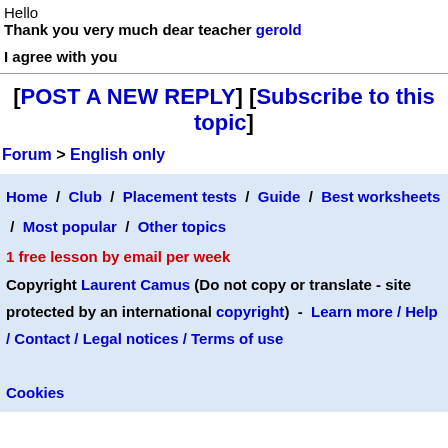Hello
Thank you very much dear teacher gerold
I agree with you
[POST A NEW REPLY] [Subscribe to this topic]
Forum > English only
Home / Club / Placement tests / Guide / Best worksheets / Most popular / Other topics
1 free lesson by email per week
Copyright Laurent Camus (Do not copy or translate - site protected by an international copyright) - Learn more / Help / Contact / Legal notices / Terms of use
Cookies